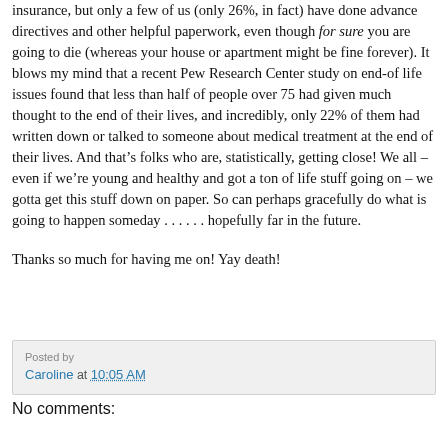insurance, but only a few of us (only 26%, in fact) have done advance directives and other helpful paperwork, even though for sure you are going to die (whereas your house or apartment might be fine forever). It blows my mind that a recent Pew Research Center study on end-of life issues found that less than half of people over 75 had given much thought to the end of their lives, and incredibly, only 22% of them had written down or talked to someone about medical treatment at the end of their lives. And that’s folks who are, statistically, getting close! We all – even if we’re young and healthy and got a ton of life stuff going on – we gotta get this stuff down on paper. So can perhaps gracefully do what is going to happen someday . . . . . . hopefully far in the future.
Thanks so much for having me on! Yay death!
Caroline at 10:05 AM
No comments: